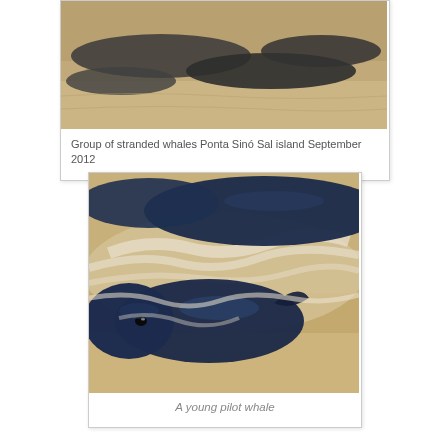[Figure (photo): Aerial or close-up photograph of stranded whales on sandy beach, Ponta Sinó Sal island, September 2012]
Group of stranded whales Ponta Sinó Sal island September 2012
[Figure (photo): Close-up photograph of a young pilot whale stranded on a sandy beach with white foamy water around it. The whale is dark blue-black in color.]
A young pilot whale